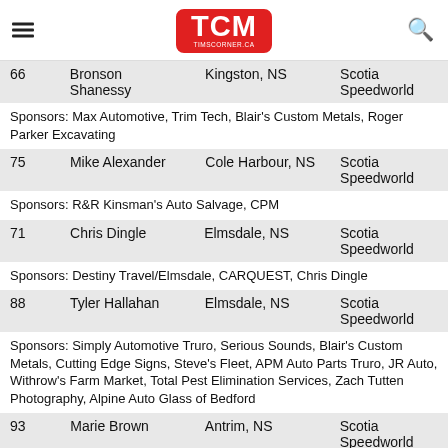TCM – timscorner.ca
| # | Driver | City | Track |
| --- | --- | --- | --- |
| 66 | Bronson Shanessy | Kingston, NS | Scotia Speedworld |
| 75 | Mike Alexander | Cole Harbour, NS | Scotia Speedworld |
| 71 | Chris Dingle | Elmsdale, NS | Scotia Speedworld |
| 88 | Tyler Hallahan | Elmsdale, NS | Scotia Speedworld |
| 93 | Marie Brown | Antrim, NS | Scotia Speedworld |
Sponsors: Max Automotive, Trim Tech, Blair's Custom Metals, Roger Parker Excavating
Sponsors: R&R Kinsman's Auto Salvage, CPM
Sponsors: Destiny Travel/Elmsdale, CARQUEST, Chris Dingle
Sponsors: Simply Automotive Truro, Serious Sounds, Blair's Custom Metals, Cutting Edge Signs, Steve's Fleet, APM Auto Parts Truro, JR Auto, Withrow's Farm Market, Total Pest Elimination Services, Zach Tutten Photography, Alpine Auto Glass of Bedford
Sponsors: R& A Automotive, Never Greener, Cobb Co Signs, Alpine Autoglass, Town & Country, Richie Reno's